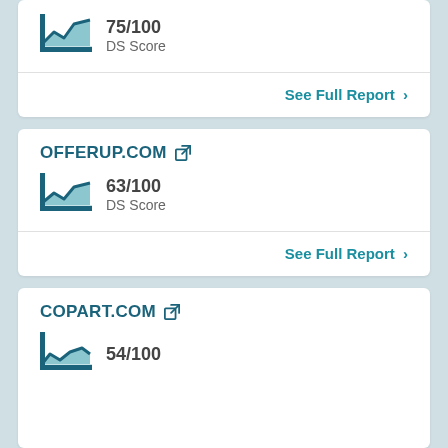75/100 DS Score
See Full Report >
OFFERUP.COM
63/100 DS Score
See Full Report >
COPART.COM
54/100